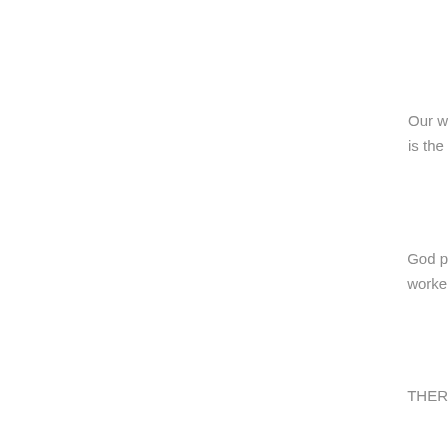Our w
is the
God p
worke
THER
John 3
For Go
whoev
John 1
Greate
1 John
This is
as an
Psalm
For Yo
You w